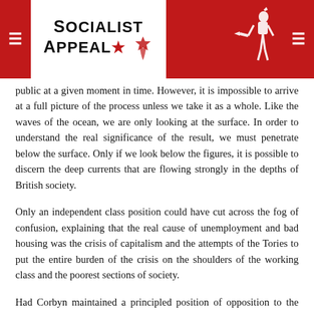Socialist Appeal [logo with New Zealand map silhouette and knight figure]
public at a given moment in time. However, it is impossible to arrive at a full picture of the process unless we take it as a whole. Like the waves of the ocean, we are only looking at the surface. In order to understand the real significance of the result, we must penetrate below the surface. Only if we look below the figures, it is possible to discern the deep currents that are flowing strongly in the depths of British society.
Only an independent class position could have cut across the fog of confusion, explaining that the real cause of unemployment and bad housing was the crisis of capitalism and the attempts of the Tories to put the entire burden of the crisis on the shoulders of the working class and the poorest sections of society.
Had Corbyn maintained a principled position of opposition to the European Union, explaining clearly its class nature, posing an internationalist and socialist alternative, there would not have been the confusion that we saw among large layers of the population. Instead, the entire question was reduced to a futile argument as to whether the working class would be better off inside or outside the capitalist European Union.